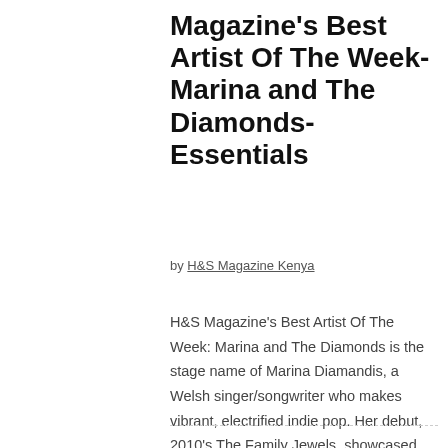Magazine's Best Artist Of The Week- Marina and The Diamonds- Essentials
by H&S Magazine Kenya
H&S Magazine's Best Artist Of The Week: Marina and The Diamonds is the stage name of Marina Diamandis, a Welsh singer/songwriter who makes vibrant, electrified indie pop. Her debut, 2010's The Family Jewels, showcased her theatrical approach to pop songcraft, …